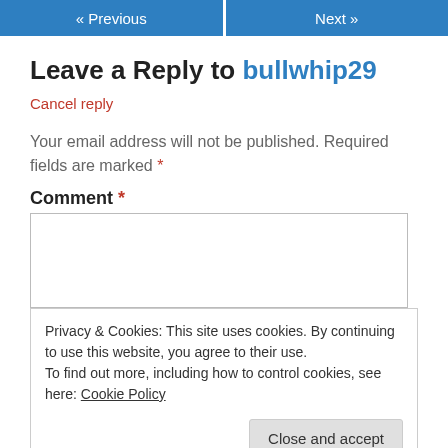« Previous   Next »
Leave a Reply to bullwhip29
Cancel reply
Your email address will not be published. Required fields are marked *
Comment *
Privacy & Cookies: This site uses cookies. By continuing to use this website, you agree to their use. To find out more, including how to control cookies, see here: Cookie Policy
Close and accept